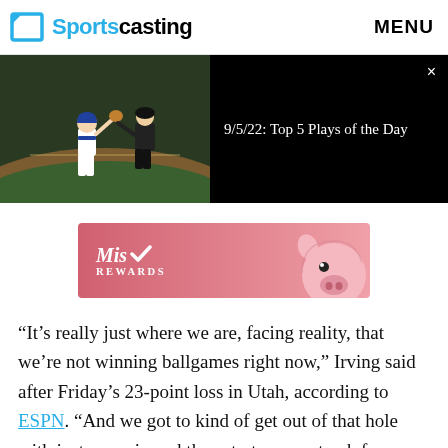Sportscasting   MENU
[Figure (screenshot): Video player showing a baseball game scene on the left half (dark background, player in white uniform and umpire visible on a baseball field), and on the right half a black panel with the text '9/5/22: Top 5 Plays of the Day' and a close (×) button in the top right corner.]
[Figure (photo): Advertisement banner for 'Mist Rewards' — pink gradient background with the Mist Rewards logo (script 'Mist' with a checkmark, and 'REWARDS' in uppercase) on the left, and a cartoon pig face illustration on the right.]
“It’s really just where we are, facing reality, that we’re not winning ballgames right now,” Irving said after Friday’s 23-point loss in Utah, according to ESPN. “And we got to kind of get out of that hole with just one win and then start a new streak from that point. But no time to